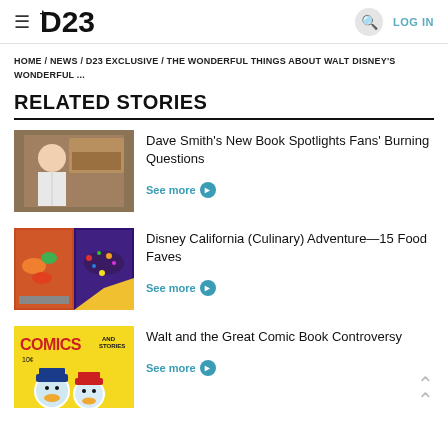☰ D23 | 🔍 | LOG IN
HOME / NEWS / D23 EXCLUSIVE / THE WONDERFUL THINGS ABOUT WALT DISNEY'S WONDERFUL ...
RELATED STORIES
[Figure (photo): Elderly man standing in front of bronze handprint plaques]
Dave Smith's New Book Spotlights Fans' Burning Questions
See more
[Figure (photo): Two food images: colorful dish on left, chocolate covered treat on right]
Disney California (Culinary) Adventure—15 Food Faves
See more
[Figure (photo): Yellow comic book cover with COMICS AND STORIES text and cartoon duck characters]
Walt and the Great Comic Book Controversy
See more